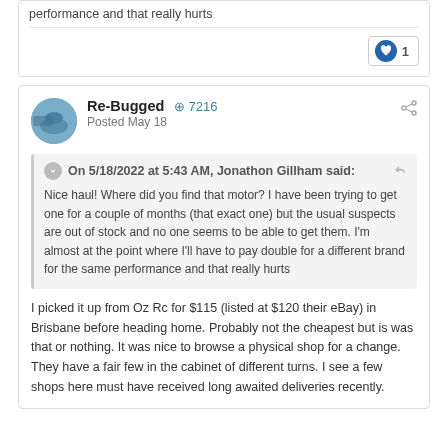performance and that really hurts
1 like
Re-Bugged  +7216
Posted May 18
On 5/18/2022 at 5:43 AM, Jonathon Gillham said:
Nice haul! Where did you find that motor? I have been trying to get one for a couple of months (that exact one) but the usual suspects are out of stock and no one seems to be able to get them. I'm almost at the point where I'll have to pay double for a different brand for the same performance and that really hurts
I picked it up from Oz Rc for $115 (listed at $120 their eBay) in Brisbane before heading home. Probably not the cheapest but is was that or nothing. It was nice to browse a physical shop for a change. They have a fair few in the cabinet of different turns. I see a few shops here must have received long awaited deliveries recently.